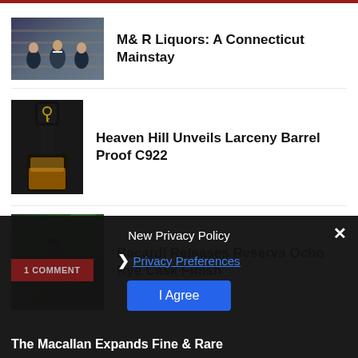M& R Liquors: A Connecticut Mainstay
Heaven Hill Unveils Larceny Barrel Proof C922
Bacardí Releases Reserva Ocho Rye Cask Finish
New Privacy Policy
Privacy Preferences
I Agree
1 COMMENT
The Macallan Expands Fine & Rare